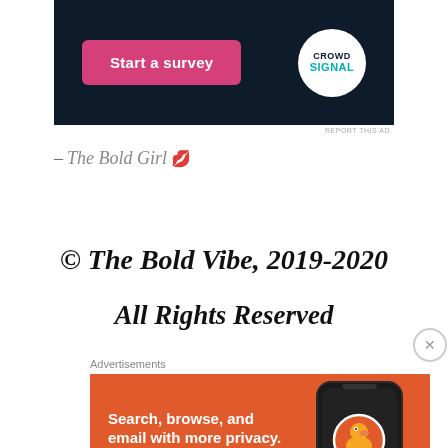[Figure (other): CrowdSignal advertisement banner with dark navy background, pink 'Start a survey' button, and CrowdSignal circular logo]
REPORT THIS AD
– The Bold Girl 💋
© The Bold Vibe, 2019-2020
All Rights Reserved
Advertisements
[Figure (other): DuckDuckGo advertisement banner with orange background showing 'Search, browse, and email with more privacy. All in One Free App' text and DuckDuckGo app logo on phone]